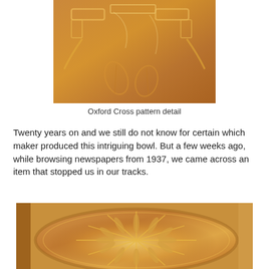[Figure (photo): Close-up detail of the Oxford Cross pattern on amber/golden pressed glass, showing raised cross-like geometric and leaf motifs.]
Oxford Cross pattern detail
Twenty years on and we still do not know for certain which maker produced this intriguing bowl. But a few weeks ago, while browsing newspapers from 1937, we came across an item that stopped us in our tracks.
[Figure (photo): Top-down or angled view of an amber/golden pressed glass bowl showing a starburst/spoke pattern with leaf motifs on a beige background.]